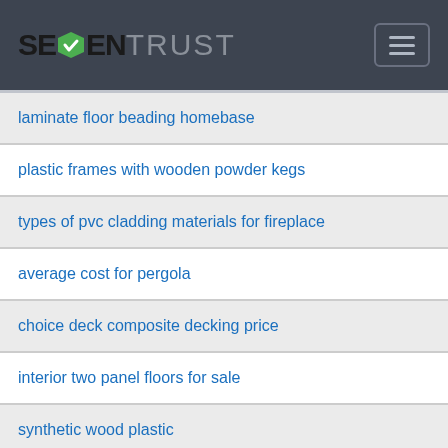[Figure (logo): SevenTrust logo with green checkmark diamond icon and hamburger menu button on dark grey background]
laminate floor beading homebase
plastic frames with wooden powder kegs
types of pvc cladding materials for fireplace
average cost for pergola
choice deck composite decking price
interior two panel floors for sale
synthetic wood plastic
WPC Suppliers in India